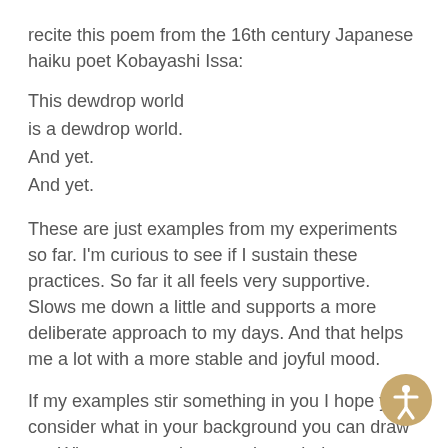recite this poem from the 16th century Japanese haiku poet Kobayashi Issa:
This dewdrop world
is a dewdrop world.
And yet.
And yet.
These are just examples from my experiments so far. I'm curious to see if I sustain these practices. So far it all feels very supportive. Slows me down a little and supports a more deliberate approach to my days. And that helps me a lot with a more stable and joyful mood.
If my examples stir something in you I hope you'll consider what in your background you can draw on. What can you do every day to help you stay